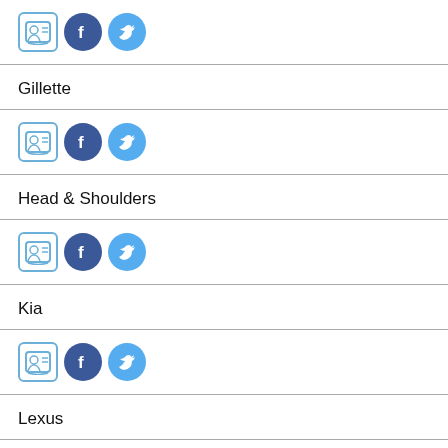[icons row] contact, facebook, twitter
Gillette
[icons row] contact, facebook, twitter
Head & Shoulders
[icons row] contact, facebook, twitter
Kia
[icons row] contact, facebook, twitter
Lexus
[icons row] contact, facebook, twitter
Netflix
[icons row] contact, facebook, twitter